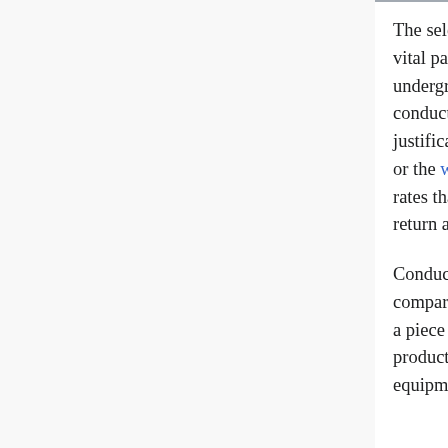The selection of the mobile equipment fleet for an underground mining operation is a vital part in determining the overall project net present value (NPV). As the underground mining industry is extremely capital-intensive, an analysis needs to be conducted on equipment fleet before any investments are made to ensure that the justification for purchase is quantified in advance. A minimum rate of return (MARR) or the weighted average cost of capital (WACC) are typically the primary hurdle rates that new mining companies strive to exceed to allow for a favourable rate of return and positive NPV to be achieved.
Conducting a life-cycle cost analysis is a recommended method for evaluating, comparing, and selecting equipment. This procedure examines the cost associated with a piece of equipment over its entire life, which includes the initial purchase, the production cycle, and disposal. This analysis allows for a determination of the best equipment selection, as the machine with the lowest life-cycle costs